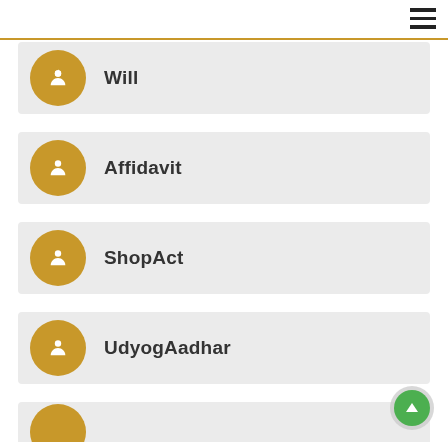Will
Affidavit
ShopAct
UdyogAadhar